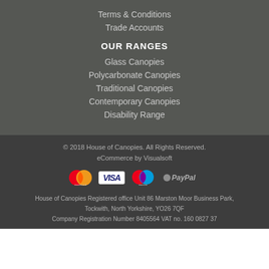Terms & Conditions
Trade Accounts
OUR RANGES
Glass Canopies
Polycarbonate Canopies
Traditional Canopies
Contemporary Canopies
Disability Range
© 2018 House of Canopies. All Rights Reserved.
eCommerce by Visualsoft
[Figure (logo): Payment method logos: Mastercard, Visa, Maestro, PayPal]
House of Canopies Registered office Unit 86 Marston Moor Business Park, Tockwith, North Yorkshire, YO26 7QF
Company Registration Number 8405564 VAT no. 160 0827 37